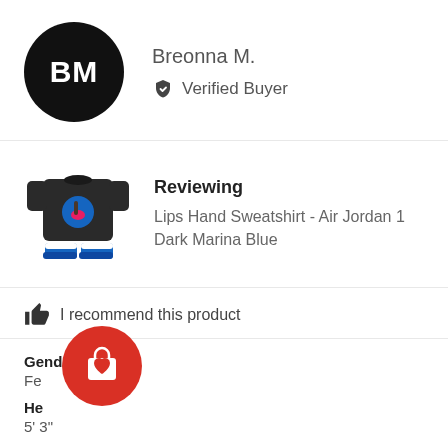BM
Breonna M.
Verified Buyer
[Figure (photo): Product image: black sweatshirt with lips and hand graphic, paired with blue Air Jordan 1 sneakers]
Reviewing
Lips Hand Sweatshirt - Air Jordan 1 Dark Marina Blue
I recommend this product
Gender
Female
Height
5' 3"
[Figure (illustration): Red circle shopping bag with heart icon overlay button]